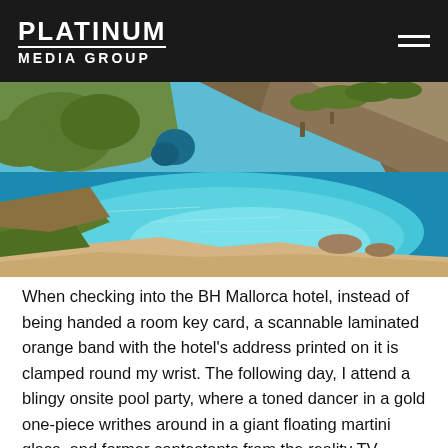PLATINUM MEDIA GROUP
[Figure (photo): Aerial view of a turquoise Mediterranean cove with rocky cliffs, green vegetation, and sandy beach]
When checking into the BH Mallorca hotel, instead of being handed a room key card, a scannable laminated orange band with the hotel's address printed on it is clamped round my wrist. The following day, I attend a blingy onsite pool party, where a toned dancer in a gold one-piece writhes around in a giant floating martini glass, and former contestants from the reality TV series Love Island pour shots into glitter-cheeked revellers' mouths. At